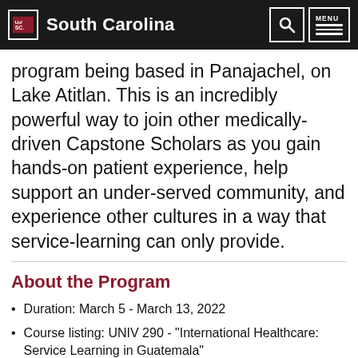University of South Carolina
program being based in Panajachel, on Lake Atitlan. This is an incredibly powerful way to join other medically-driven Capstone Scholars as you gain hands-on patient experience, help support an under-served community, and experience other cultures in a way that service-learning can only provide.
About the Program
Duration: March 5 - March 13, 2022
Course listing: UNIV 290 - "International Healthcare: Service Learning in Guatemala"